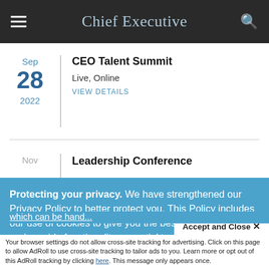Chief Executive
Sep
28
2022
CEO Talent Summit
Live, Online
VIEW DETAILS
Nov
Leadership Conference
Protecting your privacy. We have strengthened our Privacy Policy to better protect you. This Policy includes our use of cookies to give you the best online experience and provide functionality essential to our services. By clicking 'Close' or by continuing to use our website, you are consenting to our
Accept and Close ×
Your browser settings do not allow cross-site tracking for advertising. Click on this page to allow AdRoll to use cross-site tracking to tailor ads to you. Learn more or opt out of this AdRoll tracking by clicking here. This message only appears once.